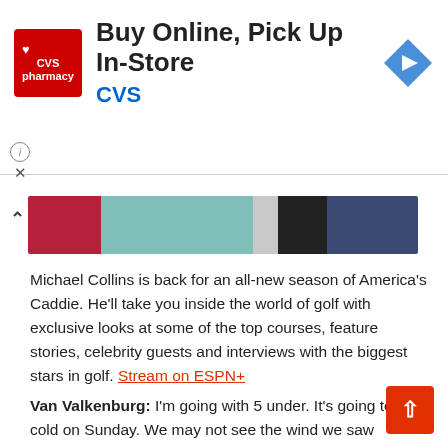[Figure (other): CVS Pharmacy advertisement banner: 'Buy Online, Pick Up In-Store' with CVS logo and blue direction arrow icon]
[Figure (photo): Partial image strip showing colorful abstract or illustrated graphic in reds, teals, grays, black, and navy blue]
Michael Collins is back for an all-new season of America's Caddie. He'll take you inside the world of golf with exclusive looks at some of the top courses, feature stories, celebrity guests and interviews with the biggest stars in golf. Stream on ESPN+
Van Valkenburg: I'm going with 5 under. It's going to be cold on Sunday. We may not see the wind we saw Saturday, but the ball isn't going to fly. There will be potential to move up the leaderboard the way Justin Thomas did at the PGA Championship, but I think 68 might be the best score out there. Anyone 1 under or better is in this.